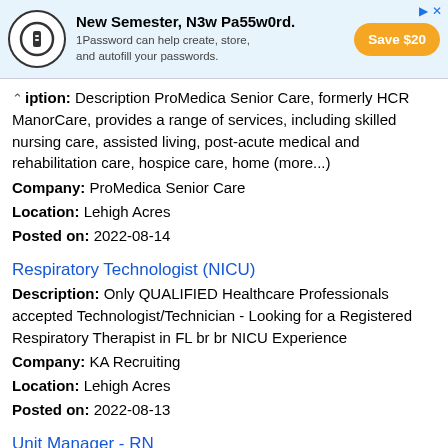[Figure (screenshot): Advertisement banner: 1Password - New Semester, N3w Pa55w0rd. Save $20 button.]
iption: Description ProMedica Senior Care, formerly HCR ManorCare, provides a range of services, including skilled nursing care, assisted living, post-acute medical and rehabilitation care, hospice care, home (more...)
Company: ProMedica Senior Care
Location: Lehigh Acres
Posted on: 2022-08-14
Respiratory Technologist (NICU)
Description: Only QUALIFIED Healthcare Professionals accepted Technologist/Technician - Looking for a Registered Respiratory Therapist in FL br br NICU Experience
Company: KA Recruiting
Location: Lehigh Acres
Posted on: 2022-08-13
Unit Manager - RN
Description: Description br br ProMedica Senior Care, formerly HCR ManorCare, provides a range of services, including skilled nursing care, assisted living, post-acute medical and rehabilitation care, hospice (more...)
Company: ProMedica Senior Care
Location: Lehigh Acres
Posted on: 2022-08-1?